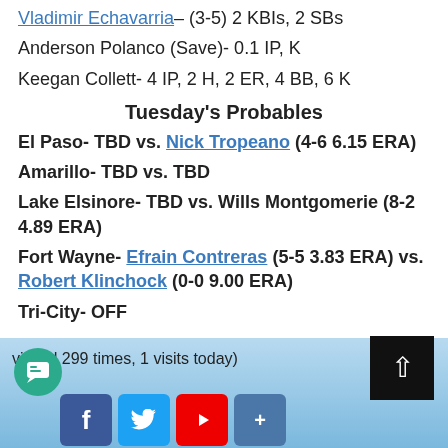Vladimir Echavarria– (3-5) 2 KBIs, 2 SBs
Anderson Polanco (Save)- 0.1 IP, K
Keegan Collett- 4 IP, 2 H, 2 ER, 4 BB, 6 K
Tuesday's Probables
El Paso- TBD vs. Nick Tropeano (4-6 6.15 ERA)
Amarillo- TBD vs. TBD
Lake Elsinore- TBD vs. Wills Montgomerie (8-2 4.89 ERA)
Fort Wayne- Efrain Contreras (5-5 3.83 ERA) vs. Robert Klinchock (0-0 9.00 ERA)
Tri-City- OFF
visited 299 times, 1 visits today)